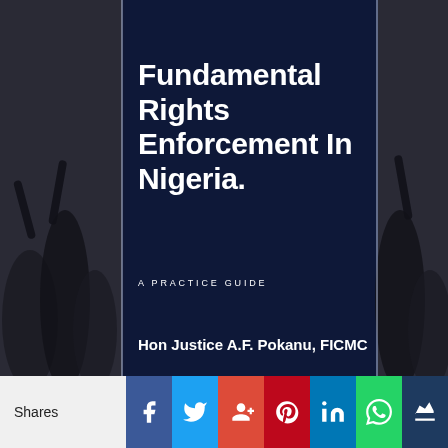[Figure (photo): Book cover titled 'Fundamental Rights Enforcement In Nigeria. A Practice Guide' by Hon Justice A.F. Pokanu, FICMC. Dark navy blue overlay on a background photo of people with raised fists.]
Fundamental Rights Enforcement In Nigeria.
A PRACTICE GUIDE
Hon Justice A.F. Pokanu, FICMC
Shares [Facebook] [Twitter] [Google+] [Pinterest] [LinkedIn] [WhatsApp] [Other]